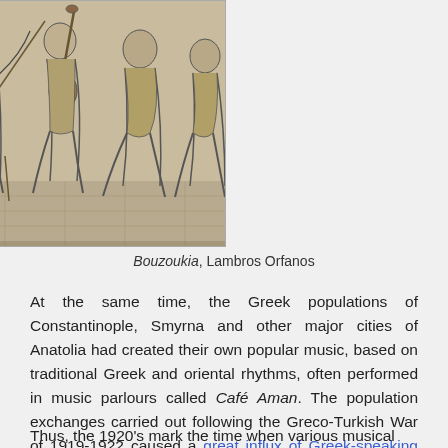[Figure (illustration): Black and white etching/drawing of several figures seated, appearing to be musicians in a cafe or parlour setting, titled Bouzoukia by Lambros Orfanos]
Bouzoukia, Lambros Orfanos
At the same time, the Greek populations of Constantinople, Smyrna and other major cities of Anatolia had created their own popular music, based on traditional Greek and oriental rhythms, often performed in music parlours called Café Aman. The population exchanges carried out following the Greco-Turkish War of 1919-1922 caused a great influx of Greek-speaking refugees in major Greek cities, especially Athens, Piraeus and Thessaloniki.
Thus, the 1920's mark the time when various musical